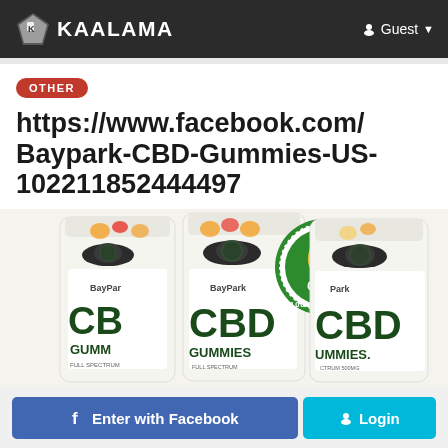KAALAMA  Guest
OTHER
https://www.facebook.com/Baypark-CBD-Gummies-US-102211852444497
[Figure (photo): Three jars of BayPark CBD Gummies with a circular CBD 100% Pure logo badge overlaid on the center jar]
Enter with Facebook  Login